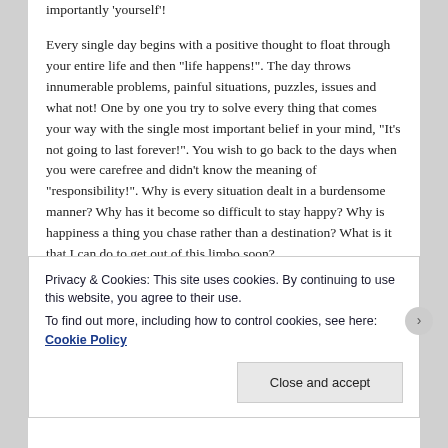importantly 'yourself'!
Every single day begins with a positive thought to float through your entire life and then “life happens!”. The day throws innumerable problems, painful situations, puzzles, issues and what not! One by one you try to solve every thing that comes your way with the single most important belief in your mind, “It’s not going to last forever!”. You wish to go back to the days when you were carefree and didn’t know the meaning of “responsibility!”. Why is every situation dealt in a burdensome manner? Why has it become so difficult to stay happy? Why is happiness a thing you chase rather than a destination? What is it that I can do to get out of this limbo soon?
Privacy & Cookies: This site uses cookies. By continuing to use this website, you agree to their use.
To find out more, including how to control cookies, see here: Cookie Policy
Close and accept